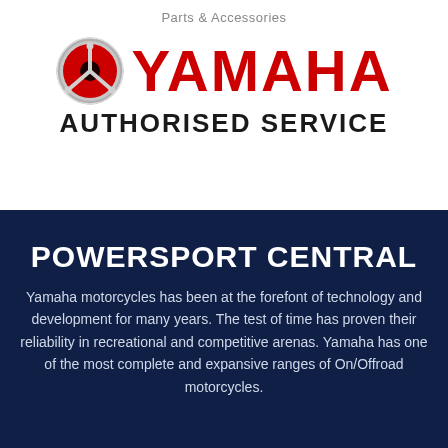Parts & Accessories
[Figure (logo): Yamaha Authorised Service logo with tuning fork emblem and red YAMAHA text above AUTHORISED SERVICE in black]
POWERSPORT CENTRAL
Yamaha motorcycles has been at the forefont of technology and development for many years. The test of time has proven their reliability in recreational and competitive arenas. Yamaha has one of the most complete and expansive ranges of On/Offroad motorcycles.